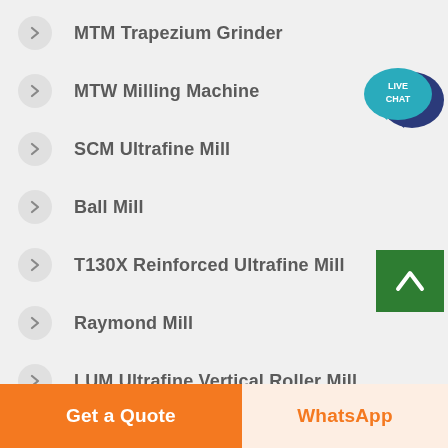MTM Trapezium Grinder
MTW Milling Machine
SCM Ultrafine Mill
Ball Mill
T130X Reinforced Ultrafine Mill
Raymond Mill
LUM Ultrafine Vertical Roller Mill
[Figure (logo): Live Chat speech bubble icon with teal/dark blue colors and LIVE CHAT text]
[Figure (other): Green scroll-to-top button with white upward arrow]
Get a Quote
WhatsApp